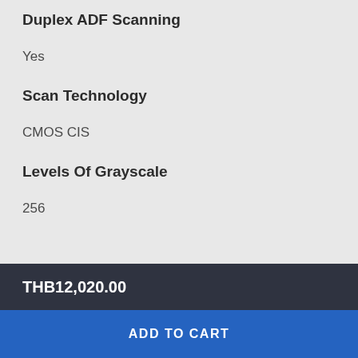Duplex ADF Scanning
Yes
Scan Technology
CMOS CIS
Levels Of Grayscale
256
THB12,020.00
ADD TO CART